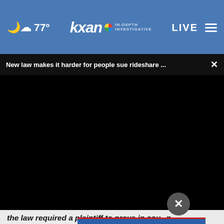77° kxan IN-DEPTH INVESTIGATIVE LIVE
New law makes it harder for people sue rideshare ...
[Figure (screenshot): Black video player area embedded in news webpage]
the law required a plaintiff to prove in court in order ... ed injury ...